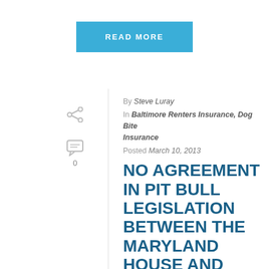READ MORE
By Steve Luray
In Baltimore Renters Insurance, Dog Bite Insurance
Posted March 10, 2013
NO AGREEMENT IN PIT BULL LEGISLATION BETWEEN THE MARYLAND HOUSE AND SENATE
The Baltimore Sun reported today